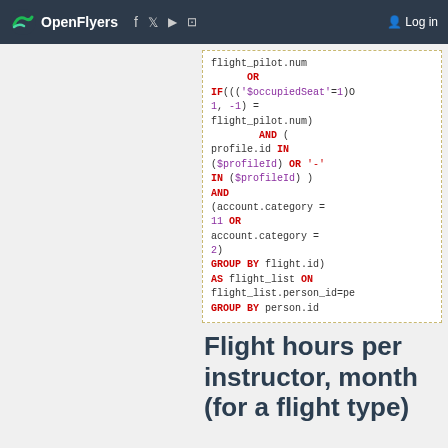OpenFlyers | Log in
flight_pilot.num OR IF((('$occupiedSeat'=1)... 1, -1) = flight_pilot.num) AND ( profile.id IN ($profileId) OR '-' IN ($profileId) ) AND (account.category = 11 OR account.category = 2) GROUP BY flight.id) AS flight_list ON flight_list.person_id=pe... GROUP BY person.id
Flight hours per instructor, month (for a flight type)